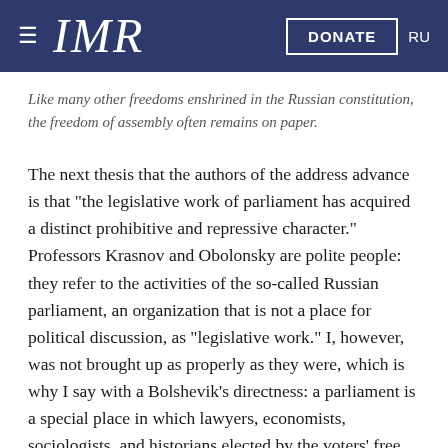≡ IMR  DONATE  RU
Like many other freedoms enshrined in the Russian constitution, the freedom of assembly often remains on paper.
The next thesis that the authors of the address advance is that "the legislative work of parliament has acquired a distinct prohibitive and repressive character." Professors Krasnov and Obolonsky are polite people: they refer to the activities of the so-called Russian parliament, an organization that is not a place for political discussion, as "legislative work." I, however, was not brought up as properly as they were, which is why I say with a Bolshevik's directness: a parliament is a special place in which lawyers, economists, sociologists, and historians elected by the voters' free will meet. The current State Duma, which consists of athletes, cultural figures, and various former officials who do not bother to develop the laws they draw up and pass all bills that the president and the federal government bring to them, does not, in my humble opinion, look like a